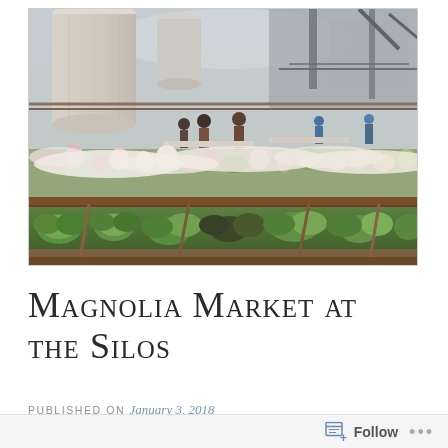[Figure (photo): Outdoor market/garden scene at Magnolia Market at the Silos. Shows raised garden beds with flowers (pink, white) in the middle ground, green leafy vegetables in the foreground raised beds, white row covers over plants, industrial silos and warehouse structures in the background, and several people browsing between the plant rows.]
Magnolia Market at the Silos
PUBLISHED ON January 3, 2018